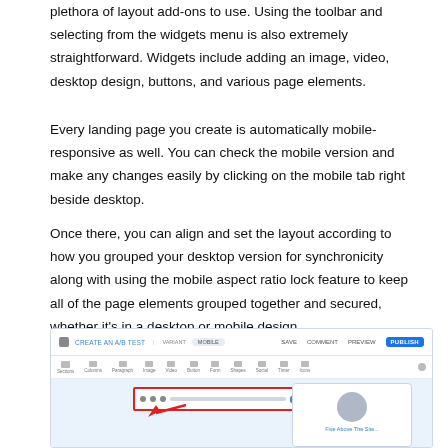plethora of layout add-ons to use. Using the toolbar and selecting from the widgets menu is also extremely straightforward. Widgets include adding an image, video, desktop design, buttons, and various page elements.
Every landing page you create is automatically mobile-responsive as well. You can check the mobile version and make any changes easily by clicking on the mobile tab right beside desktop.
Once there, you can align and set the layout according to how you grouped your desktop version for synchronicity along with using the mobile aspect ratio lock feature to keep all of the page elements grouped together and secured, whether it's in a desktop or mobile design.
[Figure (screenshot): Screenshot of a web page editor interface showing a toolbar with navigation icons, a canvas area with a highlighted red-bordered mobile tab selector box with a red arrow pointing to it, and a card element with a circular avatar placeholder and blue link text.]